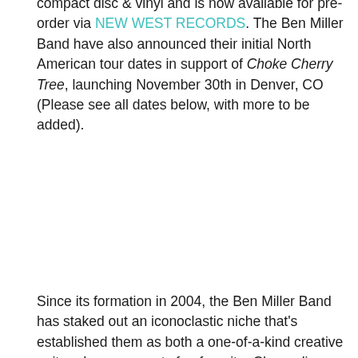compact disc & vinyl and is now available for pre-order via NEW WEST RECORDS. The Ben Miller Band have also announced their initial North American tour dates in support of Choke Cherry Tree, launching November 30th in Denver, CO (Please see all dates below, with more to be added).
Since its formation in 2004, the Ben Miller Band has staked out an iconoclastic niche that's established them as both a one-of-a-kind creative unit and a grass-roots fan favorite. Channeling a century's worth of far-flung American musical influences into rousing songcraft that radiates with smarts and soul, Miller's tunes achieve a musical and emotional depth that belies the materials (and the musicians') rough exterior. Word of their charismatic live shows spread and the band has astounded audiences across North America, the U.K., and Europe, where they've toured to rave reviews (including a high-profile tour of Europe with ZZ Top, thanks to